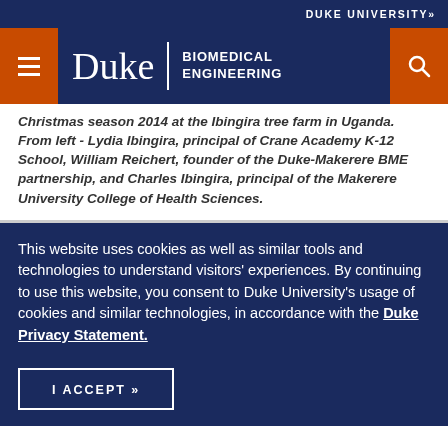DUKE UNIVERSITY»
Duke | BIOMEDICAL ENGINEERING
Christmas season 2014 at the Ibingira tree farm in Uganda. From left - Lydia Ibingira, principal of Crane Academy K-12 School, William Reichert, founder of the Duke-Makerere BME partnership, and Charles Ibingira, principal of the Makerere University College of Health Sciences.
This website uses cookies as well as similar tools and technologies to understand visitors' experiences. By continuing to use this website, you consent to Duke University's usage of cookies and similar technologies, in accordance with the Duke Privacy Statement.
I ACCEPT »